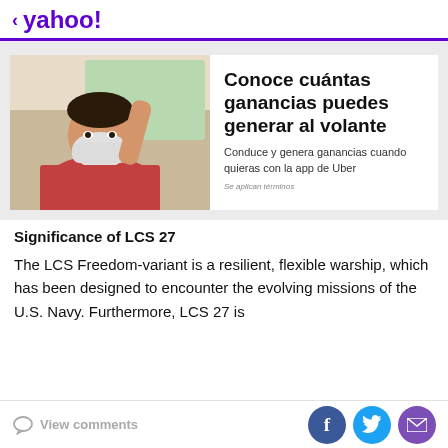< yahoo!
[Figure (infographic): Advertisement banner: Man wearing a face mask in a car, with Spanish text 'Conoce cuántas ganancias puedes generar al volante' and Uber app promotion.]
Significance of LCS 27
The LCS Freedom-variant is a resilient, flexible warship, which has been designed to encounter the evolving missions of the U.S. Navy. Furthermore, LCS 27 is
View comments | Facebook | Twitter | Email